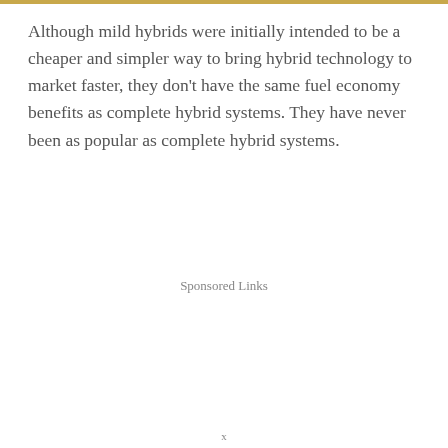Although mild hybrids were initially intended to be a cheaper and simpler way to bring hybrid technology to market faster, they don't have the same fuel economy benefits as complete hybrid systems. They have never been as popular as complete hybrid systems.
Sponsored Links
x